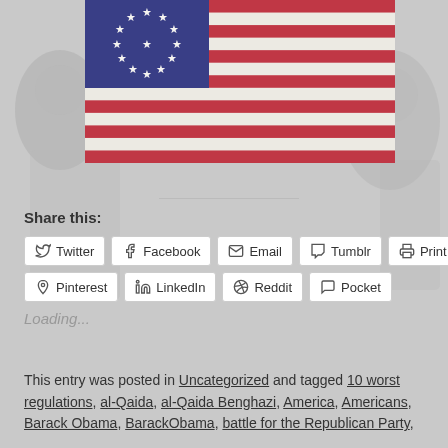[Figure (photo): Betsy Ross American flag (13 stars in circle, red and white stripes) on faded crowd background]
Share this:
Twitter  Facebook  Email  Tumblr  Print  Pinterest  LinkedIn  Reddit  Pocket
Loading...
This entry was posted in Uncategorized and tagged 10 worst regulations, al-Qaida, al-Qaida Benghazi, America, Americans, Barack Obama, BarackObama, battle for the Republican Party,